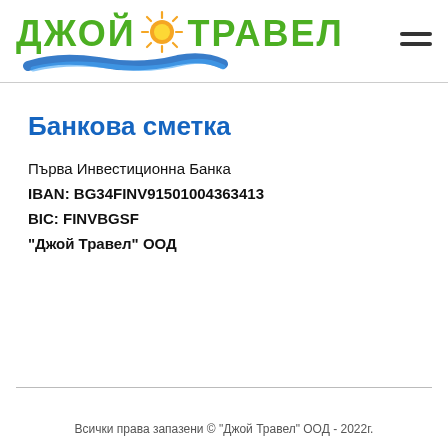[Figure (logo): Joy Travel (Джой Травел) logo with green text and sun icon and blue brush stroke]
Банкова сметка
Първа Инвестиционна Банка
IBAN: BG34FINV91501004363413
BIC: FINVBGSF
"Джой Травел" ООД
Всички права запазени © "Джой Травел" ООД - 2022г.